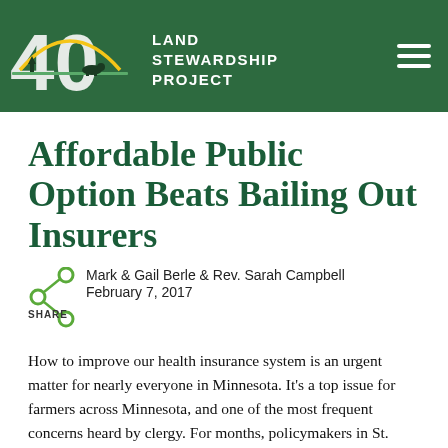Land Stewardship Project
Affordable Public Option Beats Bailing Out Insurers
Mark & Gail Berle & Rev. Sarah Campbell
February 7, 2017
How to improve our health insurance system is an urgent matter for nearly everyone in Minnesota. It's a top issue for farmers across Minnesota, and one of the most frequent concerns heard by clergy. For months, policymakers in St. Paul worked on details for how to provide immediate assistance to people who buy health insurance in Minnesota's individual market. In the process, there was a great deal of talk — and delay — over the need for reforms to prevent…